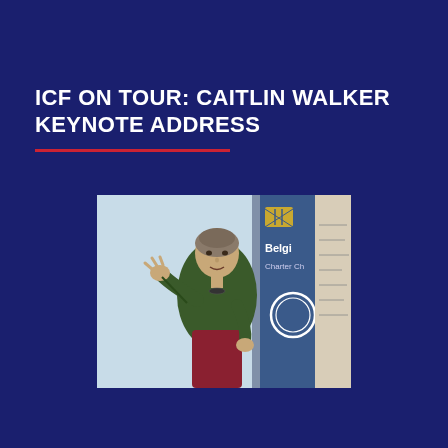ICF ON TOUR: CAITLIN WALKER KEYNOTE ADDRESS
[Figure (photo): A woman in a dark green jacket gesturing while speaking at a podium or presentation. Behind her is a light blue projected screen on the left and an ICF Belgium Charter Chapter banner/roll-up on the right with the ICF logo visible.]